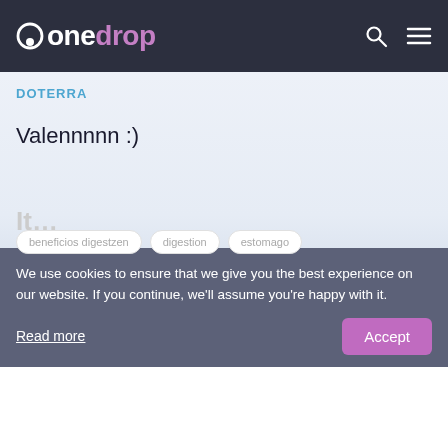onedrop
DOTERRA
Valennnnn :)
[Figure (other): Purple loading spinner arc (partial circle) indicating page content is loading]
It...
We use cookies to ensure that we give you the best experience on our website. If you continue, we'll assume you're happy with it.
Read more
beneficios digestzen   digestion   estomago